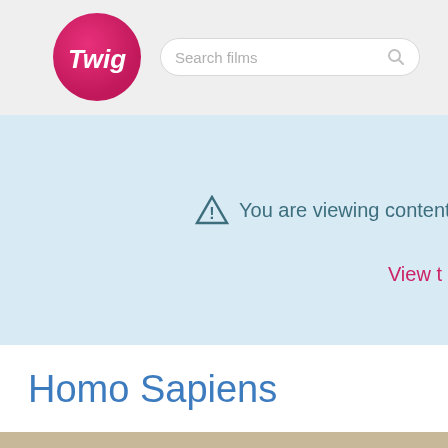[Figure (logo): Twig logo - pink/magenta gradient circle with white text 'Twig']
Search films
⚠ You are viewing content
View t
Homo Sapiens